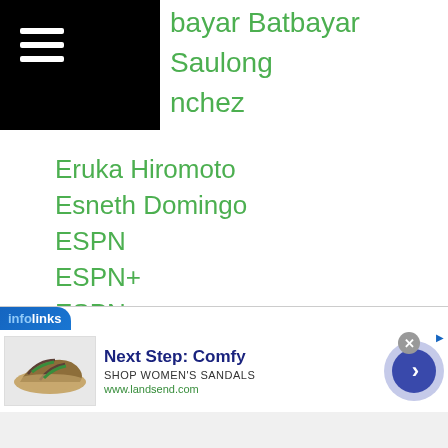bayar Batbayar
Saulong
nchez
Eruka Hiromoto
Esneth Domingo
ESPN
ESPN+
ESPN5
Etsuko Tada
Eugene Lagos
Eumir Marcial
Eun Hye Lee
Evgeny-gradovich
Exhibitions
Fahlan Sakkreerin Jr
Fahsai Sakkreerin
[Figure (screenshot): Infolinks advertisement banner for Lands' End sandals: Next Step: Comfy, SHOP WOMEN'S SANDALS, www.landsend.com]